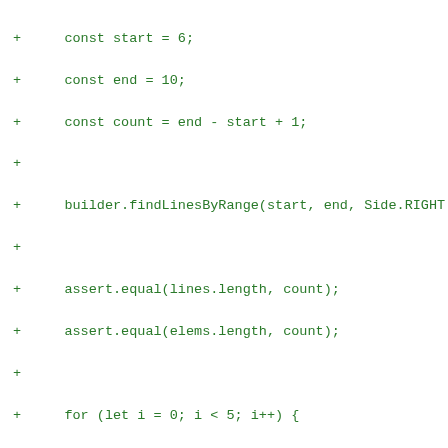+ const start = 6;
+ const end = 10;
+ const count = end - start + 1;
+
+ builder.findLinesByRange(start, end, Side.RIGHT
+
+ assert.equal(lines.length, count);
+ assert.equal(elems.length, count);
+
+ for (let i = 0; i < 5; i++) {
+ assert.instanceOf(lines[i], GrDiffLine);
+ assert.equal(lines[i].afterNumber, start + i)
+ assert.instanceOf(elems[i], HTMLElement);
+ assert.equal(lines[i].text, elems[i].textCont
+ }
+ });
+
+ test('renderContentByRange', () => {
+ const spy = sinon.spy(builder, 'createTextEl');
+ const start = 9;
+ const end = 14;
+ const count = end - start + 1;